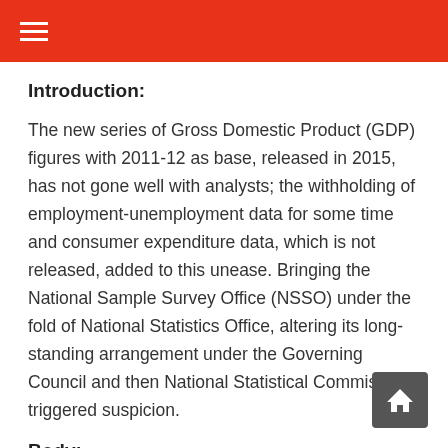Introduction:
The new series of Gross Domestic Product (GDP) figures with 2011-12 as base, released in 2015, has not gone well with analysts; the withholding of employment-unemployment data for some time and consumer expenditure data, which is not released, added to this unease. Bringing the National Sample Survey Office (NSSO) under the fold of National Statistics Office, altering its long-standing arrangement under the Governing Council and then National Statistical Commission, triggered suspicion.
Body: